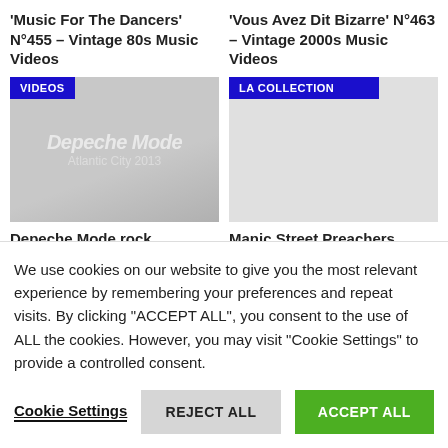'Music For The Dancers' N°455 – Vintage 80s Music Videos
'Vous Avez Dit Bizarre' N°463 – Vintage 2000s Music Videos
[Figure (photo): Thumbnail image with VIDEOS badge and Depeche Mode text overlay]
[Figure (photo): Thumbnail image with LA COLLECTION badge, grey placeholder]
Depeche Mode rock Atlantic City (2013)
Manic Street Preachers release their third album
We use cookies on our website to give you the most relevant experience by remembering your preferences and repeat visits. By clicking "ACCEPT ALL", you consent to the use of ALL the cookies. However, you may visit "Cookie Settings" to provide a controlled consent.
Cookie Settings
REJECT ALL
ACCEPT ALL